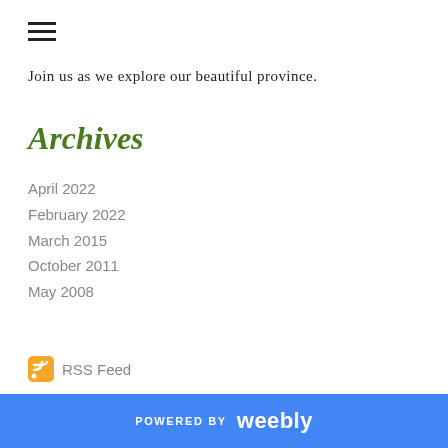[Figure (illustration): Hamburger menu icon (three horizontal lines)]
Join us as we explore our beautiful province.
Archives
April 2022
February 2022
March 2015
October 2011
May 2008
RSS Feed
POWERED BY weebly